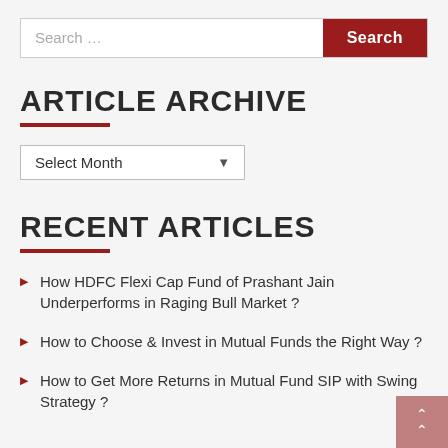Search …
ARTICLE ARCHIVE
Select Month
RECENT ARTICLES
How HDFC Flexi Cap Fund of Prashant Jain Underperforms in Raging Bull Market ?
How to Choose & Invest in Mutual Funds the Right Way ?
How to Get More Returns in Mutual Fund SIP with Swing Strategy ?